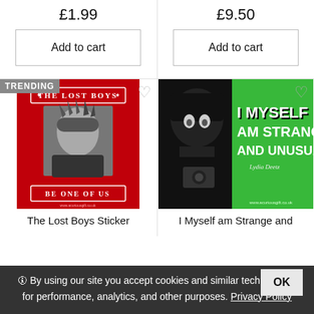£1.99
Add to cart
£9.50
Add to cart
[Figure (illustration): The Lost Boys sticker product image on a red background with 'THE LOST BOYS' banner at top, a black and white photo of a person with spiky hair, and 'BE ONE OF US' banner at bottom]
[Figure (illustration): I Myself am Strange and Unusual product image with black silhouette on left and green background on right with white gothic text reading 'I MYSELF AM STRANGE AND UNUSUAL']
The Lost Boys Sticker
I Myself am Strange and Unusual Media Bag...
🛈 By using our site you accept cookies and similar technologies for performance, analytics, and other purposes. Privacy Policy
OK